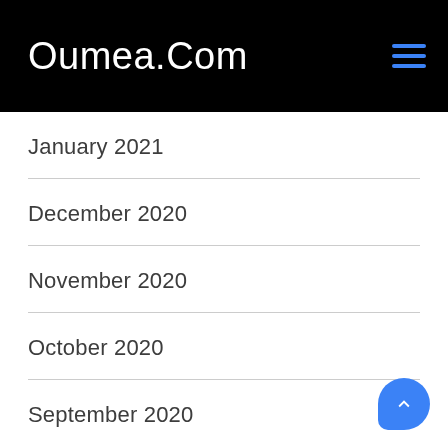Oumea.Com
January 2021
December 2020
November 2020
October 2020
September 2020